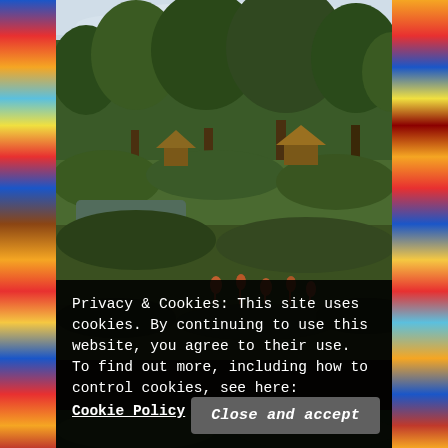[Figure (photo): Outdoor nature/zoo scene with lush green trees, water, and flamingos visible in the foreground. Colorful decorative strips on left and right edges of the page.]
Privacy & Cookies: This site uses cookies. By continuing to use this website, you agree to their use.
To find out more, including how to control cookies, see here:
Cookie Policy
Close and accept